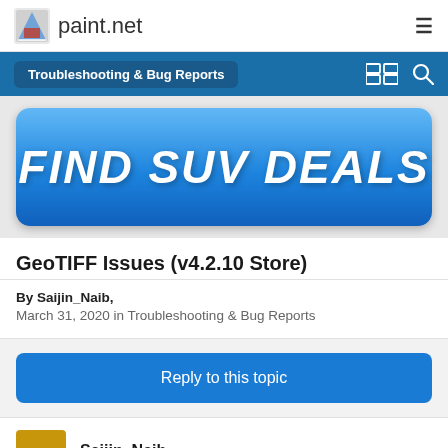paint.net
Troubleshooting & Bug Reports
[Figure (other): Advertisement banner with text FIND SUV DEALS on a blue gradient rounded rectangle background]
GeoTIFF Issues (v4.2.10 Store)
By Saijin_Naib, March 31, 2020 in Troubleshooting & Bug Reports
Reply to this topic
Saijin_Naib